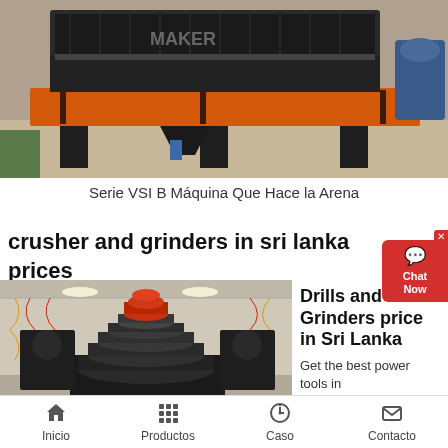[Figure (photo): Industrial sand-making machine (VSI B series) with orange and dark grey frame, photographed in a factory setting.]
Serie VSI B Máquina Que Hace la Arena
crusher and grinders in sri lanka prices
[Figure (photo): Large cone crusher with red top cap in an industrial factory building decorated with red and yellow streamers.]
Drills and Grinders price in Sri Lanka
Get the best power tools in
Inicio  Productos  Caso  Contacto